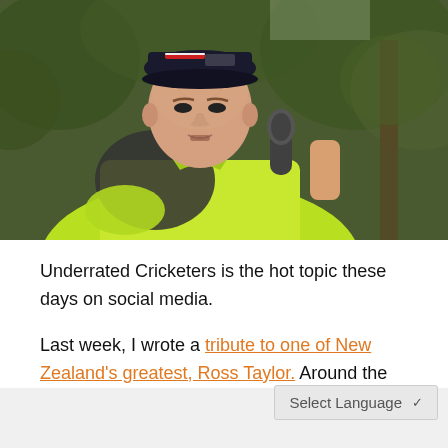[Figure (photo): A young male cricketer wearing a bright neon yellow/lime polo shirt and dark baseball cap with red stripe, speaking into a microphone held by someone off-camera. Background shows green trees. The man appears to be in his 20s, Caucasian, clean-shaven, outdoors.]
Underrated Cricketers is the hot topic these days on social media.
Last week, I wrote a tribute to one of New Zealand's greatest, Ross Taylor. Around the
Select Language